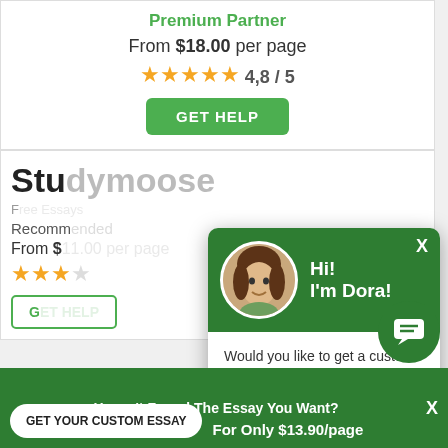Premium Partner
From $18.00 per page
4,8 / 5
GET HELP
Stu...
F...
Recomm...
From $...
G...
[Figure (screenshot): Chat popup with avatar photo of woman named Dora, green header, text asking about custom essay with Click here link]
Hi! I'm Dora!
Would you like to get a custom essay? How about receiving a customized one?
Click here
Haven't Found The Essay You Want?
GET YOUR CUSTOM ESSAY
For Only $13.90/page